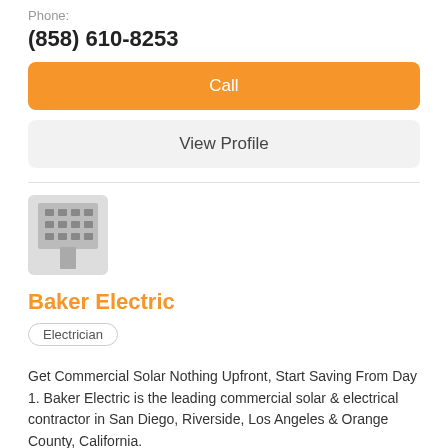Phone:
(858) 610-8253
Call
View Profile
[Figure (logo): Gray building/office icon with grid of windows and a door]
Baker Electric
Electrician
Get Commercial Solar Nothing Upfront, Start Saving From Day 1. Baker Electric is the leading commercial solar & electrical contractor in San Diego, Riverside, Los Angeles & Orange County, California.
Address:
1298 Pacific Oaks Pl Escondido, CA
Phone: